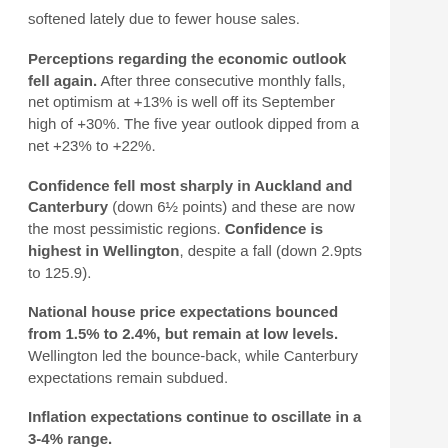softened lately due to fewer house sales.
Perceptions regarding the economic outlook fell again. After three consecutive monthly falls, net optimism at +13% is well off its September high of +30%. The five year outlook dipped from a net +23% to +22%.
Confidence fell most sharply in Auckland and Canterbury (down 6½ points) and these are now the most pessimistic regions. Confidence is highest in Wellington, despite a fall (down 2.9pts to 125.9).
National house price expectations bounced from 1.5% to 2.4%, but remain at low levels. Wellington led the bounce-back, while Canterbury expectations remain subdued.
Inflation expectations continue to oscillate in a 3-4% range.